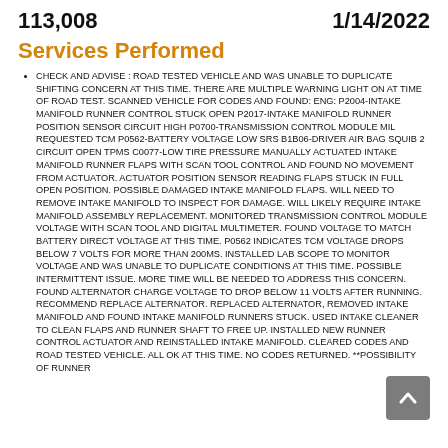113,008    1/14/2022
Services Performed
CHECK AND ADVISE : ROAD TESTED VEHICLE AND WAS UNABLE TO DUPLICATE SHIFTING CONCERN AT THIS TIME. THERE ARE MULTIPLE WARNING LIGHT ON AT TIME OF ROAD TEST. SCANNED VEHICLE FOR CODES AND FOUND: ENG: P2004-INTAKE MANIFOLD RUNNER CONTROL STUCK OPEN P2017-INTAKE MANIFOLD RUNNER POSITION SENSOR CIRCUIT HIGH P0700-TRANSMISSION CONTROL MODULE MIL REQUESTED TCM P0562-BATTERY VOLTAGE LOW SRS B1B06-DRIVER AIR BAG SQUIB 2 CIRCUIT OPEN TPMS C0077-LOW TIRE PRESSURE MANUALLY ACTUATED INTAKE MANIFOLD RUNNER FLAPS WITH SCAN TOOL CONTROL AND FOUND NO MOVEMENT FROM ACTUATOR. ACTUATOR POSITION SENSOR READING FLAPS STUCK IN FULL OPEN POSITION. POSSIBLE DAMAGED INTAKE MANIFOLD FLAPS. WILL NEED TO REMOVE INTAKE MANIFOLD TO INSPECT FOR DAMAGE. WILL LIKELY REQUIRE INTAKE MANIFOLD ASSEMBLY REPLACEMENT. MONITORED TRANSMISSION CONTROL MODULE VOLTAGE WITH SCAN TOOL AND DIGITAL MULTIMETER. FOUND VOLTAGE TO MATCH BATTERY DIRECT VOLTAGE AT THIS TIME. P0562 INDICATES TCM VOLTAGE DROPS BELOW 7 VOLTS FOR MORE THAN 200MS. INSTALLED LAB SCOPE TO MONITOR VOLTAGE AND WAS UNABLE TO DUPLICATE CONDITIONS AT THIS TIME. POSSIBLE INTERMITTENT ISSUE. MORE TIME WILL BE NEEDED TO ADDRESS THIS CONCERN. FOUND ALTERNATOR CHARGE VOLTAGE TO DROP BELOW 11 VOLTS AFTER RUNNING. RECOMMEND REPLACE ALTERNATOR. REPLACED ALTERNATOR, REMOVED INTAKE MANIFOLD AND FOUND INTAKE MANIFOLD RUNNERS STUCK. USED INTAKE CLEANER TO CLEAN FLAPS AND RUNNER SHAFT TO FREE UP. INSTALLED NEW RUNNER CONTROL ACTUATOR AND REINSTALLED INTAKE MANIFOLD. CLEARED CODES AND ROAD TESTED VEHICLE. ALL OK AT THIS TIME. NO CODES RETURNED. **POSSIBILITY OF RUNNER